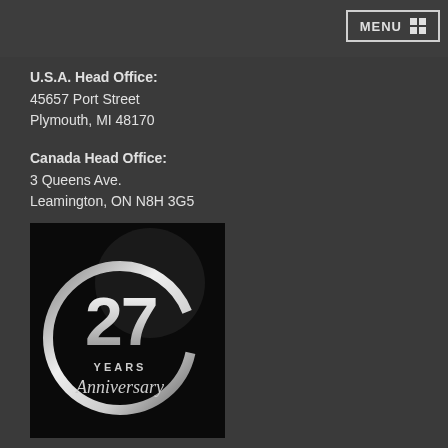MENU
U.S.A. Head Office:
45657 Port Street
Plymouth, MI 48170
Canada Head Office:
3 Queens Ave.
Leamington, ON N8H 3G5
[Figure (illustration): 27 Years Anniversary logo — silver circular ring with the number 27 in large silver text, 'YEARS' in small caps, and 'Anniversary' in cursive script, on a black background]
Copyright © 2022. BeddingSuperStore.com. "Bedding Sets For Your Bedroom". All Rights Reserved. Terms of Use